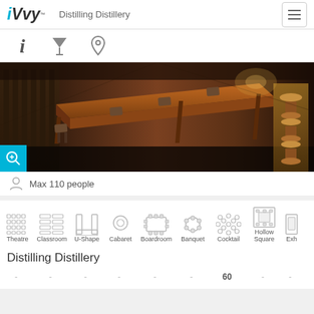iVvy™  Distilling Distillery
[Figure (screenshot): Navigation icons row with info (i), filter (martini glass), and location pin icons]
[Figure (photo): Interior photo of a long wooden dining table with bar stools along the wall in a dark restaurant/distillery setting]
Max 110 people
[Figure (infographic): Row of seating arrangement icons: Theatre, Classroom, U-Shape, Cabaret, Boardroom, Banquet, Cocktail, Hollow Square, Exh (Exhibition)]
Distilling Distillery
- - - - - - 60 - -